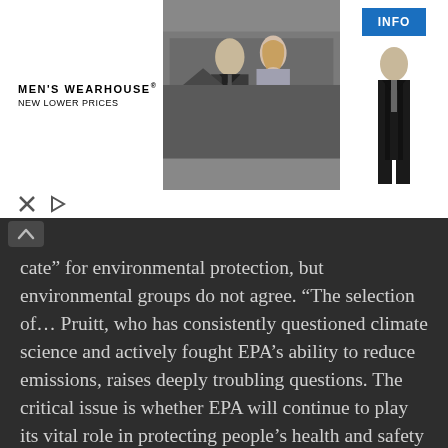[Figure (photo): Men's Wearhouse advertisement banner showing a couple dressed formally (man in suit, woman in formal dress) and a man in a tuxedo on the right side, with an INFO button. Includes X and play icons below the Men's Wearhouse logo with 'New Lower Prices' tagline.]
“cate” for environmental protection, but environmental groups do not agree. “The selection of… Pruitt, who has consistently questioned climate science and actively fought EPA’s ability to reduce emissions, raises deeply troubling questions. The critical issue is whether EPA will continue to play its vital role in protecting people’s health and safety in communities across the country,” said Sam Adams, Director, World Resources Institute, in a statement.
Mr. Obama and former Democratic presidential candidate Hillary Clinton had sought to build the global climate regime as an opportunity to create